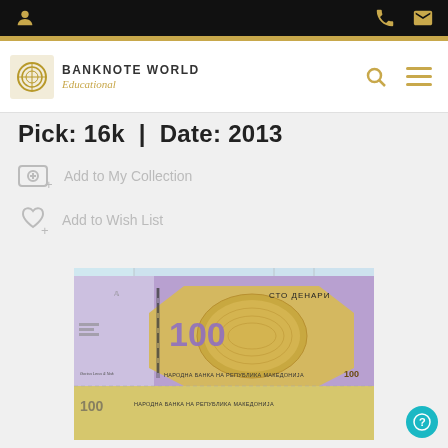Banknote World Educational — navigation bar
[Figure (logo): Banknote World Educational logo with stylized globe icon and gold italic script]
Pick: 16k  |  Date: 2013
Add to My Collection
Add to Wish List
[Figure (photo): Macedonian 100 Denar banknote (2013) showing front and partial back. Front features gold octagonal coin-like emblem, text 'СТО ДЕНАРИ' and 'НАРОДНА БАНКА НА РЕПУБЛИКА МАКЕДОНИЈА 100'. Second strip shows '100' and repeat of bank name.]